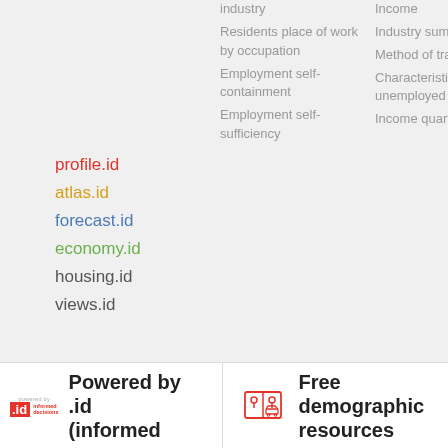industry
Residents place of work by occupation
Employment self-containment
Employment self-sufficiency
Income
Industry summary
Method of travel to work
Characteristics of the unemployed
Income quartiles
profile.id
atlas.id
forecast.id
economy.id
housing.id
views.id
Powered by .id (informed
Free demographic resources